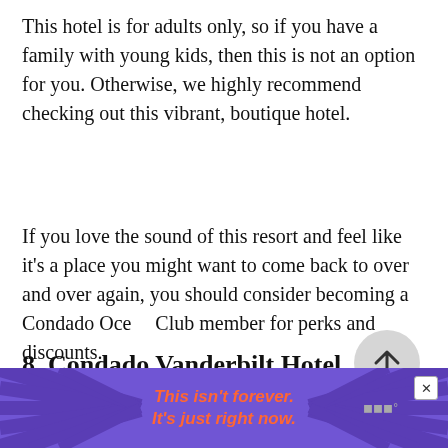This hotel is for adults only, so if you have a family with young kids, then this is not an option for you. Otherwise, we highly recommend checking out this vibrant, boutique hotel.
If you love the sound of this resort and feel like it's a place you might want to come back to over and over again, you should consider becoming a Condado Oce​an Club member for perks and discounts.
[Figure (other): Circular scroll-to-top button with an upward arrow, light gray background]
8. Condado Vanderbilt Hotel
[Figure (other): Purple advertisement banner at bottom of page with text 'This isn't forever. It's just right now.' in orange italic font, with decorative ray lines, a close X button, and a small logo on the right.]